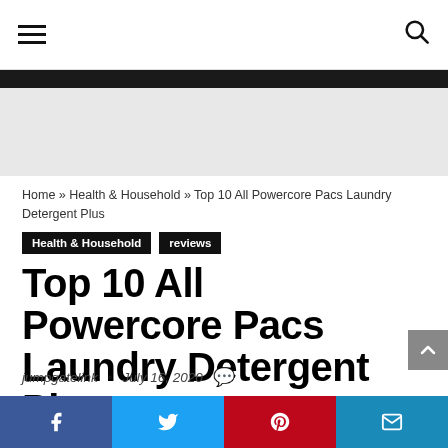Navigation bar with hamburger menu and search icon
Home » Health & Household » Top 10 All Powercore Pacs Laundry Detergent Plus
Health & Household   reviews
Top 10 All Powercore Pacs Laundry Detergent Plus
jumpgatelink • July 16, 2020
Social share buttons: Facebook, Twitter, Pinterest, Email